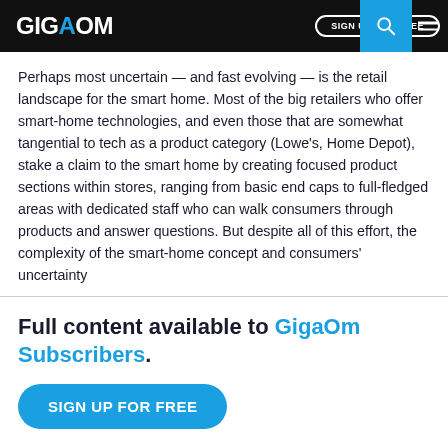GIGAOM | SIGN UP FOR FREE
Perhaps most uncertain — and fast evolving — is the retail landscape for the smart home. Most of the big retailers who offer smart-home technologies, and even those that are somewhat tangential to tech as a product category (Lowe's, Home Depot), stake a claim to the smart home by creating focused product sections within stores, ranging from basic end caps to full-fledged areas with dedicated staff who can walk consumers through products and answer questions. But despite all of this effort, the complexity of the smart-home concept and consumers' uncertainty
Full content available to GigaOm Subscribers.
SIGN UP FOR FREE